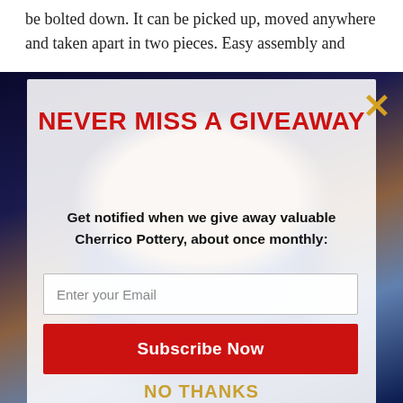be bolted down. It can be picked up, moved anywhere and taken apart in two pieces. Easy assembly and
[Figure (photo): Popup modal overlay on a webpage showing a decorative pottery mug with whipped cream, set against a cosmic/galaxy background. A yellow X close button appears in the top right.]
NEVER MISS A GIVEAWAY
Get notified when we give away valuable Cherrico Pottery, about once monthly:
Enter your Email
Subscribe Now
NO THANKS
[Figure (photo): Bottom portion of webpage showing people working at pottery wheels outdoors on grass.]